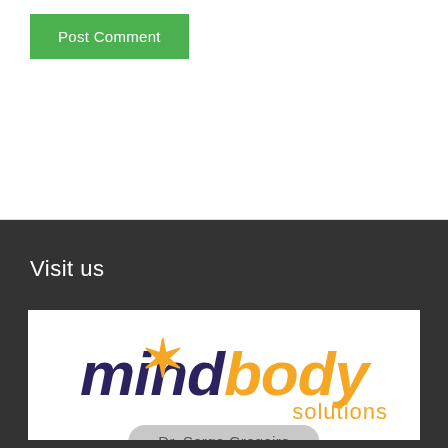[Figure (screenshot): Green 'Post Comment' button on white background]
Visit us
[Figure (logo): Mind Body Solutions logo with orange asterisk, dark purple 'mind' text and orange 'body solutions' text on white background, with 'Dr. Serge Gregoire' pill-shaped button at bottom]